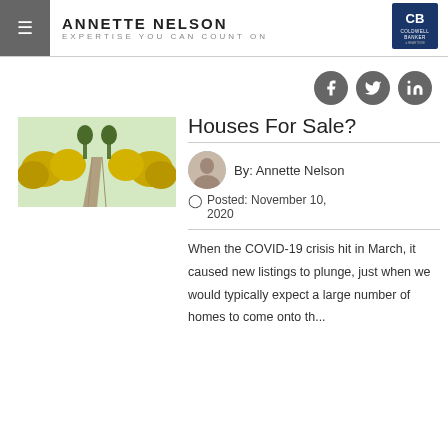ANNETTE NELSON — EXPERTISE YOU CAN COUNT ON
[Figure (photo): Tree-lined path with yellow flowering bushes]
Houses For Sale?
By: Annette Nelson
Posted: November 10, 2020
When the COVID-19 crisis hit in March, it caused new listings to plunge, just when we would typically expect a large number of homes to come onto th...